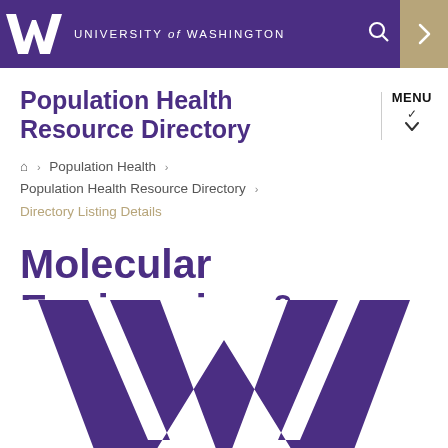UNIVERSITY of WASHINGTON
Population Health Resource Directory
MENU
Home > Population Health > Population Health Resource Directory > Directory Listing Details
Molecular Engineering & Sciences Institute
[Figure (logo): University of Washington large purple W logo watermark at bottom of page]